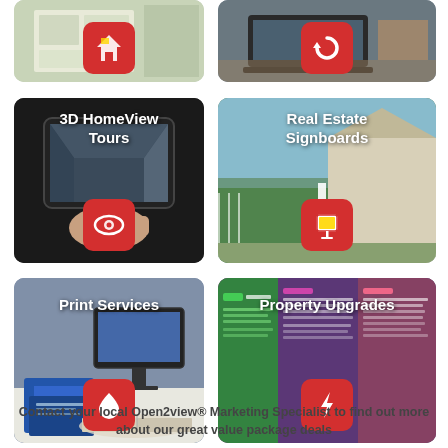[Figure (infographic): Top-left partial card: house floor plan image with a red icon box showing a house/arrow logo]
[Figure (infographic): Top-right partial card: laptop on desk image with a red icon box showing a circular arrow logo]
[Figure (infographic): Mid-left card: person holding tablet with 3D view, text '3D HomeView Tours', red icon box with eye-like logo]
[Figure (infographic): Mid-right card: real estate sign outside house, text 'Real Estate Signboards', red icon box with signboard icon]
[Figure (infographic): Bottom-left card: desktop computer and printed materials, text 'Print Services', red icon box with flag/paper icon]
[Figure (infographic): Bottom-right card: property upgrade brochures, text 'Property Upgrades', red icon box with lightning bolt icon]
Contact your local Open2view® Marketing Specialist to find out more about our great value package deals